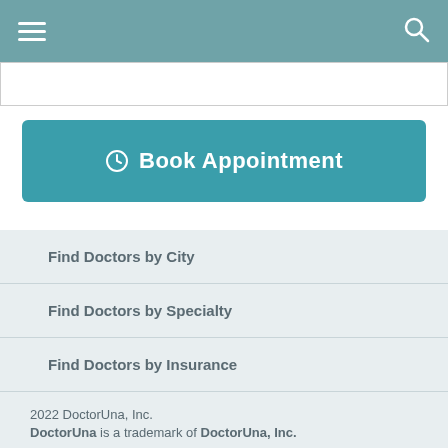DoctorUna navigation header with hamburger menu and search icon
Book Appointment
Find Doctors by City
Find Doctors by Specialty
Find Doctors by Insurance
Find Doctors by Treatment/Procedure
2022 DoctorUna, Inc. DoctorUna is a trademark of DoctorUna, Inc.